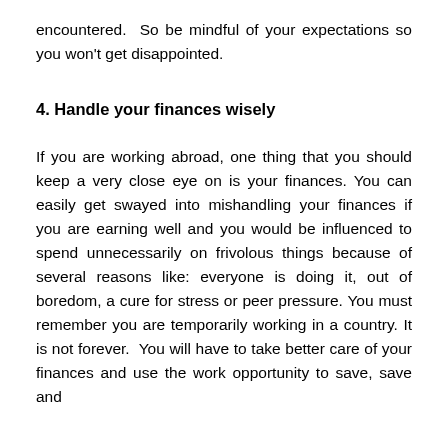encountered. So be mindful of your expectations so you won't get disappointed.
4. Handle your finances wisely
If you are working abroad, one thing that you should keep a very close eye on is your finances. You can easily get swayed into mishandling your finances if you are earning well and you would be influenced to spend unnecessarily on frivolous things because of several reasons like: everyone is doing it, out of boredom, a cure for stress or peer pressure. You must remember you are temporarily working in a country. It is not forever. You will have to take better care of your finances and use the work opportunity to save, save and